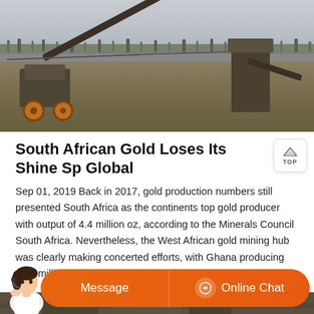[Figure (photo): Outdoor photo of mining equipment and machinery on a dry, flat landscape with an overcast grey sky. Conveyor belts and industrial structures visible.]
South African Gold Loses Its Shine Sp Global
Sep 01, 2019 Back in 2017, gold production numbers still presented South Africa as the continents top gold producer with output of 4.4 million oz, according to the Minerals Council South Africa. Nevertheless, the West African gold mining hub was clearly making concerted efforts, with Ghana producing 4.22 million oz, according to Ghanas Chamber of Mines.
[Figure (photo): Partial view of another mining scene photo at the bottom of the page.]
Message
Online Chat